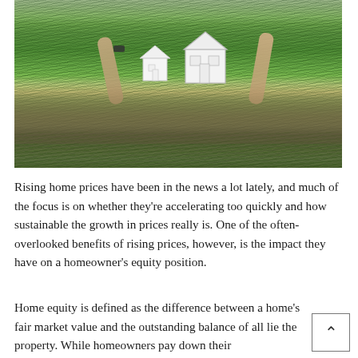[Figure (photo): Two people lying in a grass field, holding up white paper house cutouts against the sky]
Rising home prices have been in the news a lot lately, and much of the focus is on whether they're accelerating too quickly and how sustainable the growth in prices really is. One of the often-overlooked benefits of rising prices, however, is the impact they have on a homeowner's equity position.
Home equity is defined as the difference between a home's fair market value and the outstanding balance of all lie the property. While homeowners pay down their